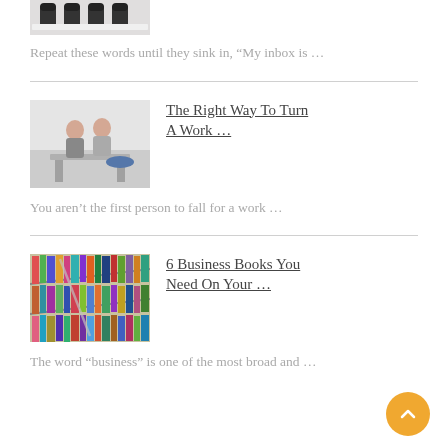[Figure (photo): Partial top image showing small ninja cartoon characters]
Repeat these words until they sink in, “My inbox is …
[Figure (photo): Two office workers talking or collaborating at a desk]
The Right Way To Turn A Work …
You aren’t the first person to fall for a work …
[Figure (photo): Rows of colorful book spines on shelves]
6 Business Books You Need On Your …
The word “business” is one of the most broad and …